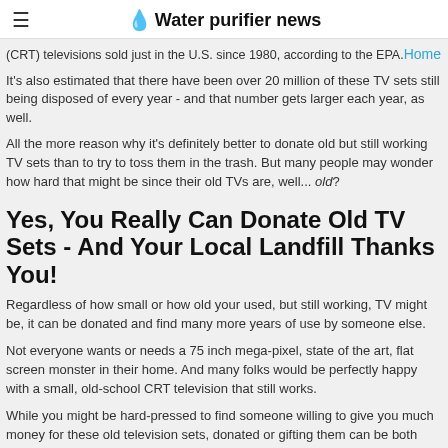Water purifier news
(CRT) televisions sold just in the U.S. since 1980, according to the EPA.
It's also estimated that there have been over 20 million of these TV sets still being disposed of every year - and that number gets larger each year, as well.
All the more reason why it's definitely better to donate old but still working TV sets than to try to toss them in the trash. But many people may wonder how hard that might be since their old TVs are, well... old?
Yes, You Really Can Donate Old TV Sets - And Your Local Landfill Thanks You!
Regardless of how small or how old your used, but still working, TV might be, it can be donated and find many more years of use by someone else.
Not everyone wants or needs a 75 inch mega-pixel, state of the art, flat screen monster in their home. And many folks would be perfectly happy with a small, old-school CRT television that still works.
While you might be hard-pressed to find someone willing to give you much money for these old television sets, donated or gifting them can be both easy and quite gratifying.